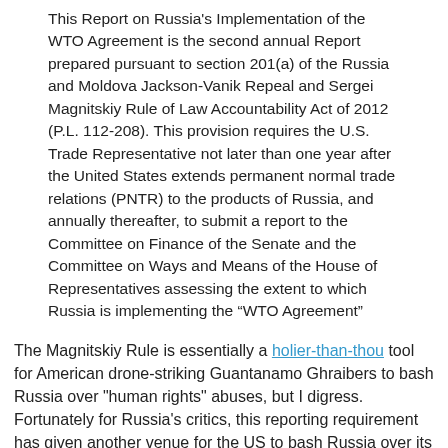This Report on Russia's Implementation of the WTO Agreement is the second annual Report prepared pursuant to section 201(a) of the Russia and Moldova Jackson-Vanik Repeal and Sergei Magnitskiy Rule of Law Accountability Act of 2012 (P.L. 112-208). This provision requires the U.S. Trade Representative not later than one year after the United States extends permanent normal trade relations (PNTR) to the products of Russia, and annually thereafter, to submit a report to the Committee on Finance of the Senate and the Committee on Ways and Means of the House of Representatives assessing the extent to which Russia is implementing the “WTO Agreement”
The Magnitskiy Rule is essentially a holier-than-thou tool for American drone-striking Guantanamo Ghraibers to bash Russia over "human rights" abuses, but I digress. Fortunately for Russia's critics, this reporting requirement has given another venue for the US to bash Russia over its